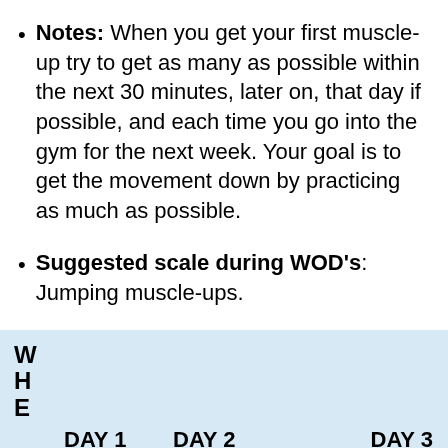Notes: When you get your first muscle-up try to get as many as possible within the next 30 minutes, later on, that day if possible, and each time you go into the gym for the next week. Your goal is to get the movement down by practicing as much as possible.
Suggested scale during WOD's: Jumping muscle-ups.
| W
H
E | DAY 1 | DAY 2 | DAY 3 |
| --- | --- | --- | --- |